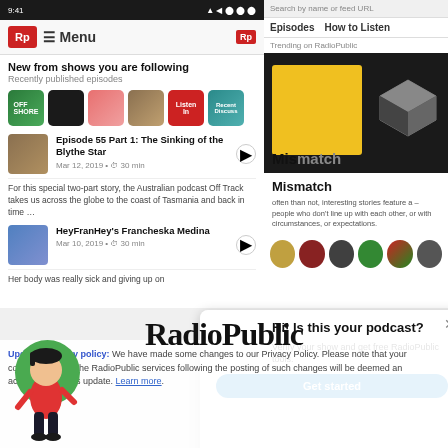[Figure (screenshot): Two mobile phone screenshots of the RadioPublic podcast app. Left screen shows 'New from shows you are following' with podcast episode listings. Right screen shows the 'Mismatch' podcast with trending on RadioPublic section, Episodes and How to Listen tabs.]
RadioPublic
Hi! Is this your podcast? Verify your show and get free RadioPublic tools.
Updated privacy policy: We have made some changes to our Privacy Policy. Please note that your continued use of the RadioPublic services following the posting of such changes will be deemed an acceptance of this update. Learn more.
Get started